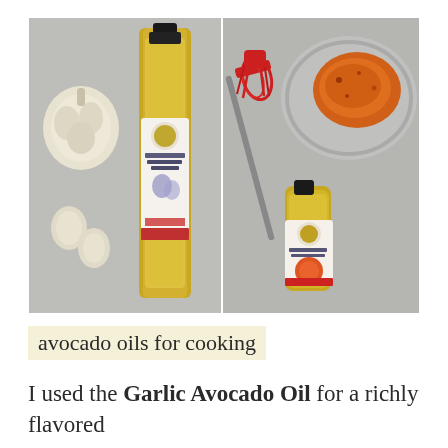[Figure (photo): Two side-by-side food photography images. Left: a tall bottle of Primal Kitchen Garlic Avocado Oil on a gray surface with a whole garlic bulb and garlic cloves. Right: a small bottle of Primal Kitchen Single Fermented Garlic avocado oil next to a red silicone whisk and a glass bowl with an orange-colored mixture on a gray surface.]
avocado oils for cooking
I used the Garlic Avocado Oil for a richly flavored